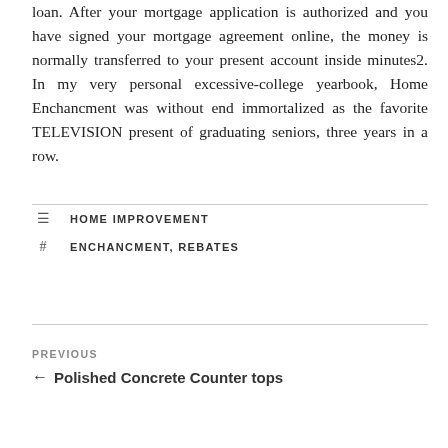loan. After your mortgage application is authorized and you have signed your mortgage agreement online, the money is normally transferred to your present account inside minutes2. In my very personal excessive-college yearbook, Home Enchancment was without end immortalized as the favorite TELEVISION present of graduating seniors, three years in a row.
HOME IMPROVEMENT
ENCHANCMENT, REBATES
PREVIOUS
← Polished Concrete Counter tops